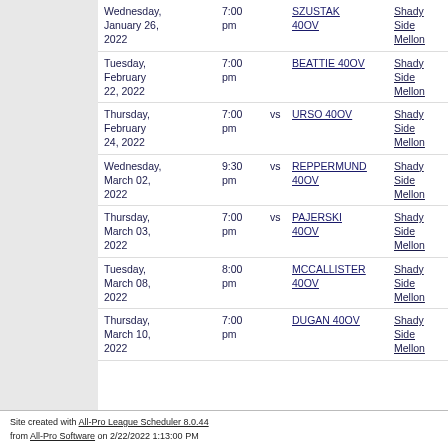| Date | Time |  | Team | Location |
| --- | --- | --- | --- | --- |
| Wednesday, January 26, 2022 | 7:00 pm |  | SZUSTAK 40OV | Shady Side Mellon |
| Tuesday, February 22, 2022 | 7:00 pm |  | BEATTIE 40OV | Shady Side Mellon |
| Thursday, February 24, 2022 | 7:00 pm | vs | URSO 40OV | Shady Side Mellon |
| Wednesday, March 02, 2022 | 9:30 pm | vs | REPPERMUND 40OV | Shady Side Mellon |
| Thursday, March 03, 2022 | 7:00 pm | vs | PAJERSKI 40OV | Shady Side Mellon |
| Tuesday, March 08, 2022 | 8:00 pm |  | MCCALLISTER 40OV | Shady Side Mellon |
| Thursday, March 10, 2022 | 7:00 pm |  | DUGAN 40OV | Shady Side Mellon |
Site created with All-Pro League Scheduler 8.0.44 from All-Pro Software on 2/22/2022 1:13:00 PM